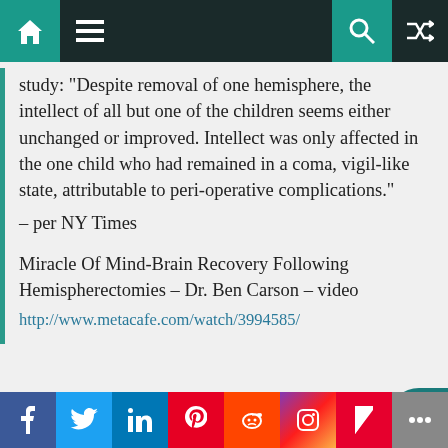Navigation bar with home, menu, search, and shuffle icons
study: "Despite removal of one hemisphere, the intellect of all but one of the children seems either unchanged or improved. Intellect was only affected in the one child who had remained in a coma, vigil-like state, attributable to peri-operative complications."
– per NY Times
Miracle Of Mind-Brain Recovery Following Hemispherectomies – Dr. Ben Carson – video
http://www.metacafe.com/watch/3994585/
18
Bornagain77
And of course then there are the
Social share bar: Facebook, Twitter, LinkedIn, Pinterest, Reddit, Instagram, Flipboard, More